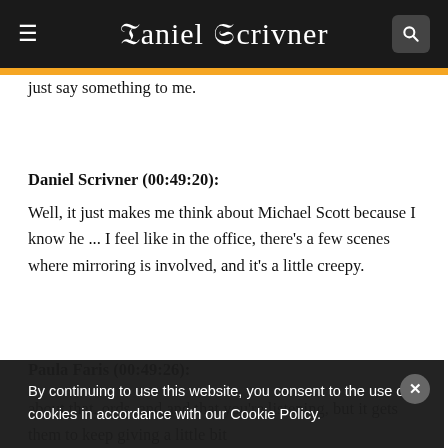Daniel Scrivner
just say something to me.
Daniel Scrivner (00:49:20):
Well, it just makes me think about Michael Scott because I know he ... I feel like in the office, there's a few scenes where mirroring is involved, and it's a little creepy.
Paula Faris (00:49:26):
about that. ords, and and that you're listening, but it gets them to keep giving a little bit
By continuing to use this website, you consent to the use of cookies in accordance with our Cookie Policy.